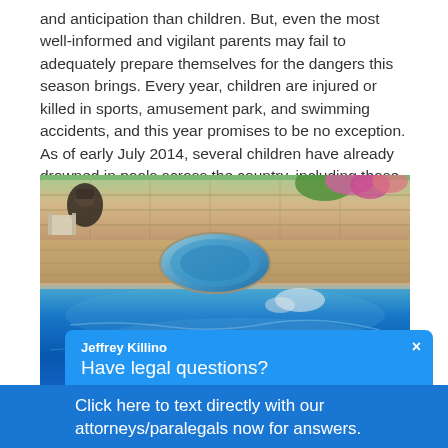and anticipation than children. But, even the most well-informed and vigilant parents may fail to adequately prepare themselves for the dangers this season brings. Every year, children are injured or killed in sports, amusement park, and swimming accidents, and this year promises to be no exception. As of early July 2014, several children have already drowned in pools across the country, including those in New Jersey, Virginia, Oklahoma, and Arizona.
[Figure (photo): Outdoor backyard swimming pool with circular spa/hot tub, stone wall border, patio area with chair, and flowering garden in background.]
Jeffrey Killino
Have legal questions?
Click here to text directly with our attorneys/paralegals now for answers.